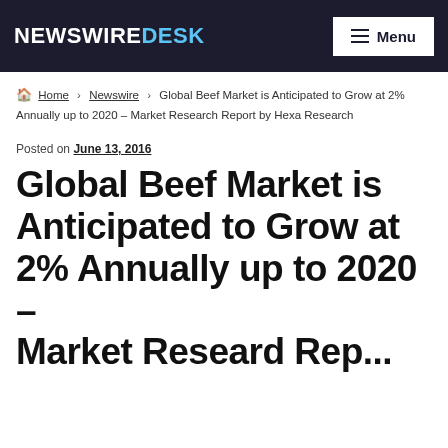NewswireDesk | Menu
Home › Newswire › Global Beef Market is Anticipated to Grow at 2% Annually up to 2020 – Market Research Report by Hexa Research
Posted on June 13, 2016
Global Beef Market is Anticipated to Grow at 2% Annually up to 2020 – Market Research Report...